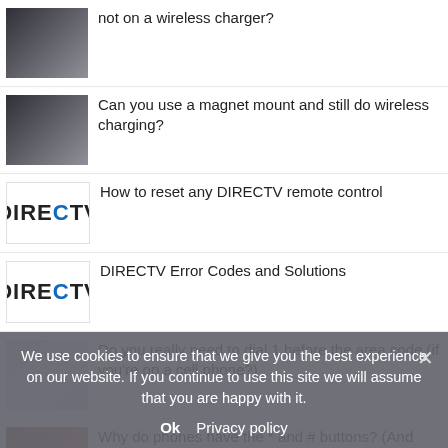not on a wireless charger?
Can you use a magnet mount and still do wireless charging?
How to reset any DIRECTV remote control
DIRECTV Error Codes and Solutions
Do you really need to dial 1 before the area code (if you're on a cell phone?)
Why do phones have the * and # buttons? (And why do they call the # button "pound?")
Camera too dark in Teams? Here's the fix
Which side of the antenna is the front?
We use cookies to ensure that we give you the best experience on our website. If you continue to use this site we will assume that you are happy with it.
Ok   Privacy policy